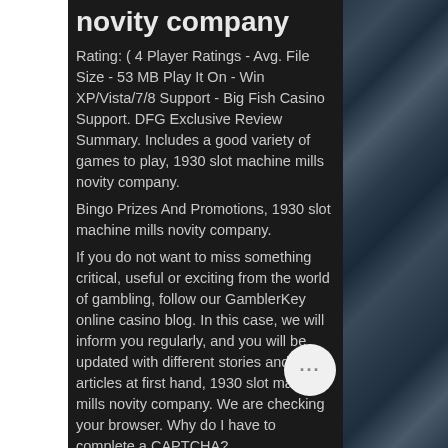novity company
Rating: ( 4 Player Ratings - Avg. File Size - 53 MB Play It On - Win XP/Vista/7/8 Support - Big Fish Casino Support. DFG Exclusive Review Summary. Includes a good variety of games to play, 1930 slot machine mills novity company.
Bingo Prizes And Promotions, 1930 slot machine mills novity company.
If you do not want to miss something critical, useful or exciting from the world of gambling, follow our GamblerKey online casino blog. In this case, we will inform you regularly, and you will be updated with different stories and articles at first hand, 1930 slot machine mills novity company. We are checking your browser. Why do I have to complete a CAPTCHA?
Free bitcoin slot game
for ipad 1